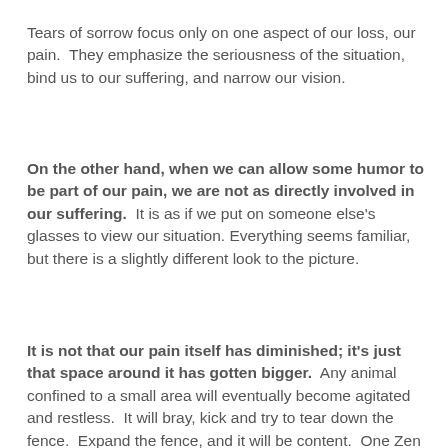Tears of sorrow focus only on one aspect of our loss, our pain.  They emphasize the seriousness of the situation, bind us to our suffering, and narrow our vision.
On the other hand, when we can allow some humor to be part of our pain, we are not as directly involved in our suffering.  It is as if we put on someone else's glasses to view our situation.  Everything seems familiar, but there is a slightly different look to the picture.
It is not that our pain itself has diminished; it's just that space around it has gotten bigger.  Any animal confined to a small area will eventually become agitated and restless.  It will bray, kick and try to tear down the fence.  Expand the fence, and it will be content.  One Zen master advised, "To give your sheep